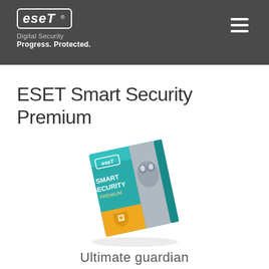ESET Digital Security Progress. Protected.
ESET Smart Security Premium
[Figure (photo): ESET Smart Security Premium product box, shown at an angle. The box has a teal/green front with 'eset SMART SECURITY Premium' text and a robot/cyborg face on the right side. A yellow rectangle is on the lower portion with a shield/monitor icon.]
Ultimate guardian